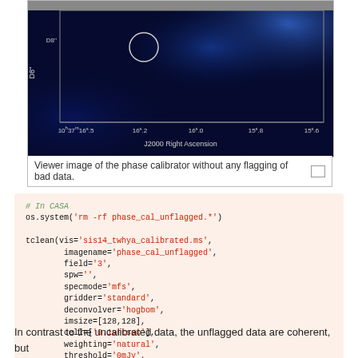[Figure (photo): Viewer image of a radio astronomy field showing the phase calibrator, displayed as a blue/dark astronomical image with J2000 Right Ascension axis at bottom and Declination on left. Shows coordinates around 10h37m16s.5 to 15s.6 in RA.]
Viewer image of the phase calibrator without any flagging of bad data.
# In CASA
os.system('rm -rf phase_cal_unflagged.*')

tclean(vis='sis14_twhya_calibrated.ms',
        imagename='phase_cal_unflagged',
        field='3',
        spw='',
        specmode='mfs',
        gridder='standard',
        deconvolver='hogbom',
        imsize=[128,128],
        cell=['0.1arcsec'],
        weighting='natural',
        threshold='0mJy',
        niter=5000,
        interactive=True)

imview("phase_cal_unflagged.image")
In contrast to the uncalibrated data, the unflagged data are coherent, but